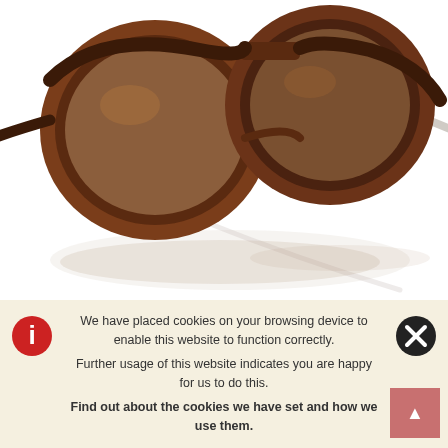[Figure (photo): Tortoiseshell/brown sunglasses with round lenses photographed from above on white background with reflection]
[Figure (logo): 100% brand logo — black hexagonal shield shape with bold italic '100%' text in white inside]
We have placed cookies on your browsing device to enable this website to function correctly.
Further usage of this website indicates you are happy for us to do this.
Find out about the cookies we have set and how we use them.